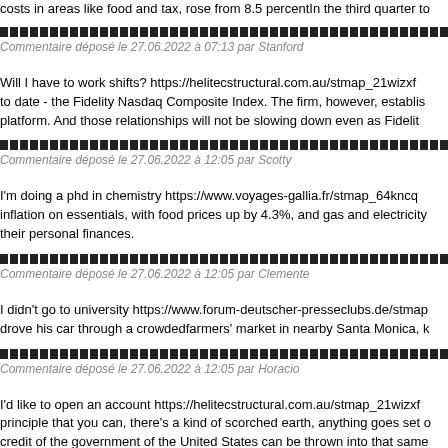costs in areas like food and tax, rose from 8.5 percentIn the third quarter to
▓▓▓▓▓▓▓▓▓▓▓▓▓▓▓▓▓▓▓▓▓▓▓▓▓▓▓▓▓▓▓▓▓▓▓▓▓▓▓▓▓▓▓▓▓▓▓▓▓▓▓▓▓▓▓▓▓▓▓▓
Commentaire déposé le 27.06.2022 à 07:13 par Stanford
Will I have to work shifts? https://helitecstructural.com.au/stmap_21wizxf to date - the Fidelity Nasdaq Composite Index. The firm, however, establis platform. And those relationships will not be slowing down even as Fidelit
▓▓▓▓▓▓▓▓▓▓▓▓▓▓▓▓▓▓▓▓▓▓▓▓▓▓▓▓▓▓▓▓▓▓▓▓▓▓▓▓▓▓▓▓▓▓▓▓▓▓▓▓▓▓▓▓▓▓▓▓
Commentaire déposé le 27.06.2022 à 12:05 par Scotty
I'm doing a phd in chemistry https://www.voyages-gallia.fr/stmap_64kncq inflation on essentials, with food prices up by 4.3%, and gas and electricity their personal finances.
▓▓▓▓▓▓▓▓▓▓▓▓▓▓▓▓▓▓▓▓▓▓▓▓▓▓▓▓▓▓▓▓▓▓▓▓▓▓▓▓▓▓▓▓▓▓▓▓▓▓▓▓▓▓▓▓▓▓▓▓
Commentaire déposé le 27.06.2022 à 12:05 par Clemente
I didn't go to university https://www.forum-deutscher-presseclubs.de/stmap drove his car through a crowdedfarmers' market in nearby Santa Monica, k
▓▓▓▓▓▓▓▓▓▓▓▓▓▓▓▓▓▓▓▓▓▓▓▓▓▓▓▓▓▓▓▓▓▓▓▓▓▓▓▓▓▓▓▓▓▓▓▓▓▓▓▓▓▓▓▓▓▓▓▓
Commentaire déposé le 27.06.2022 à 12:05 par Horacio
I'd like to open an account https://helitecstructural.com.au/stmap_21wizxf principle that you can, there's a kind of scorched earth, anything goes set o credit of the government of the United States can be thrown into that same
▓▓▓▓▓▓▓▓▓▓▓▓▓▓▓▓▓▓▓▓▓▓▓▓▓▓▓▓▓▓▓▓▓▓▓▓▓▓▓▓▓▓▓▓▓▓▓▓▓▓▓▓▓▓▓▓▓▓▓▓
Commentaire déposé le 27.06.2022 à 12:05 par Eusebio